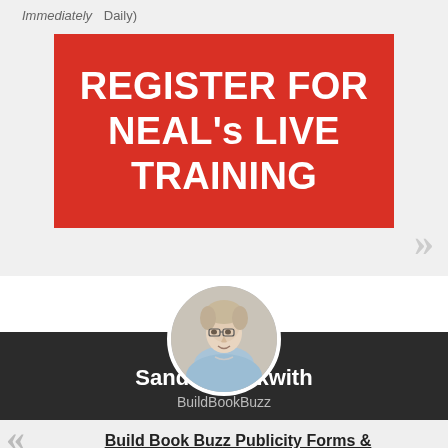Immediately   Daily
[Figure (illustration): Red button/banner with white bold text reading REGISTER FOR NEAL's LIVE TRAINING]
[Figure (photo): Circular profile photo of Sandra Beckwith, a woman with short blonde hair and glasses]
Sandra Beckwith
BuildBookBuzz
Build Book Buzz Publicity Forms &